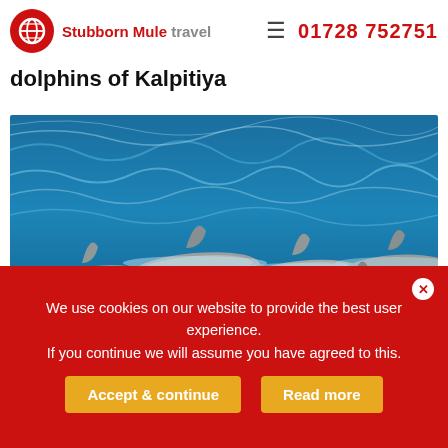Stubborn Mule travel | 01728 752751
The guide to the spinner dolphins of Kalpitiya
[Figure (photo): A pod of spinner dolphins swimming together at the ocean surface, showing dorsal fins breaking through blue water with splashing waves]
Dolphins are great fun to follow and can be seen all year round
We use cookies on our website to provide the best user experience. If you continue we will assume you have agreed to this.
Accept & continue | Read more